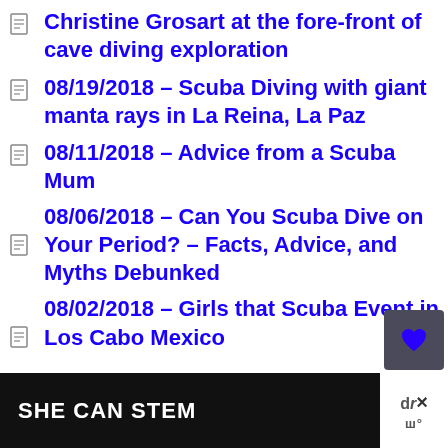Christine Grosart at the fore-front of cave diving exploration
08/19/2018 – Scuba Diving with giant manta rays in La Reina, La Paz
08/11/2018 – Advice from a Scuba Mum
08/06/2018 – Can You Scuba Dive on Your Period? – Facts, Advice, and Myths Debunked
08/02/2018 – Girls that Scuba Event in Los Cabo Mexico
SHE CAN STEM